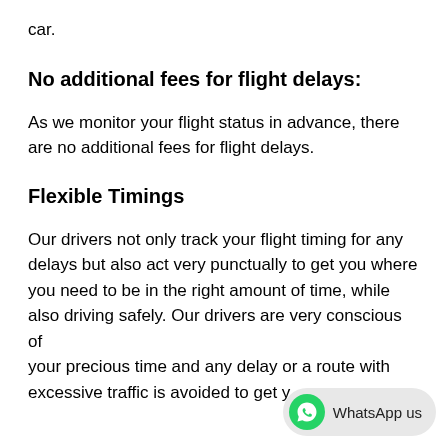car.
No additional fees for flight delays:
As we monitor your flight status in advance, there are no additional fees for flight delays.
Flexible Timings
Our drivers not only track your flight timing for any delays but also act very punctually to get you where
you need to be in the right amount of time, while also driving safely. Our drivers are very conscious of
your precious time and any delay or a route with excessive traffic is avoided to get y...